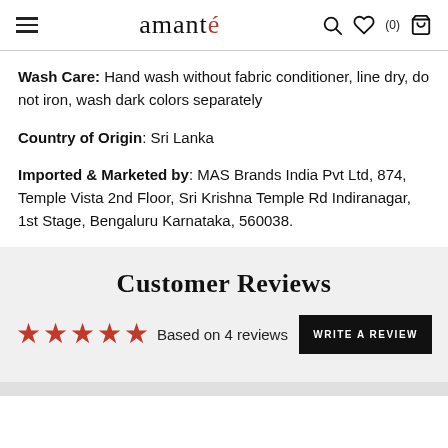amanté — hamburger menu, search, wishlist (0), bag icons
Wash Care: Hand wash without fabric conditioner, line dry, do not iron, wash dark colors separately
Country of Origin: Sri Lanka
Imported & Marketed by: MAS Brands India Pvt Ltd, 874, Temple Vista 2nd Floor, Sri Krishna Temple Rd Indiranagar, 1st Stage, Bengaluru Karnataka, 560038.
Customer Reviews
★★★★★ Based on 4 reviews — WRITE A REVIEW